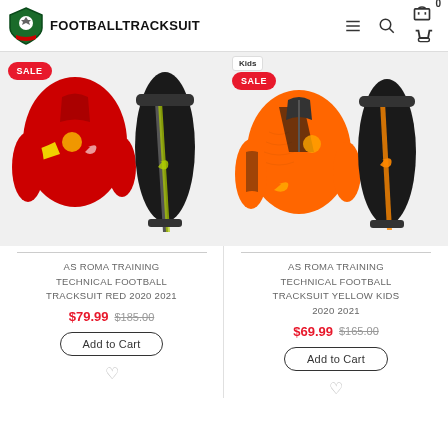FOOTBALLTRACKSUIT
[Figure (photo): Red AS Roma training tracksuit (jacket and black pants) with SALE badge]
[Figure (photo): Orange/yellow AS Roma training tracksuit kids (jacket and black pants) with SALE badge and Kids label]
AS ROMA TRAINING TECHNICAL FOOTBALL TRACKSUIT RED 2020 2021
$79.99 $185.00
Add to Cart
AS ROMA TRAINING TECHNICAL FOOTBALL TRACKSUIT YELLOW KIDS 2020 2021
$69.99 $165.00
Add to Cart